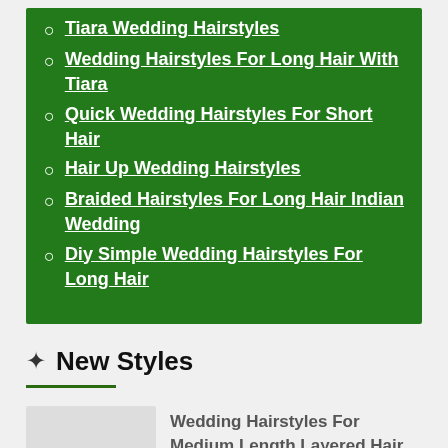Tiara Wedding Hairstyles
Wedding Hairstyles For Long Hair With Tiara
Quick Wedding Hairstyles For Short Hair
Hair Up Wedding Hairstyles
Braided Hairstyles For Long Hair Indian Wedding
Diy Simple Wedding Hairstyles For Long Hair
New Styles
Wedding Hairstyles For Medium Length Layered Hair